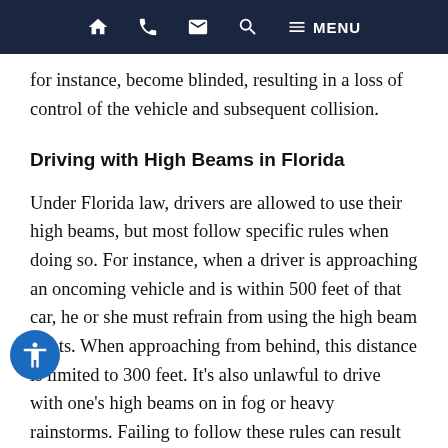HOME | PHONE | MAIL | SEARCH | MENU
for instance, become blinded, resulting in a loss of control of the vehicle and subsequent collision.
Driving with High Beams in Florida
Under Florida law, drivers are allowed to use their high beams, but most follow specific rules when doing so. For instance, when a driver is approaching an oncoming vehicle and is within 500 feet of that car, he or she must refrain from using the high beam lights. When approaching from behind, this distance is limited to 300 feet. It’s also unlawful to drive with one’s high beams on in fog or heavy rainstorms. Failing to follow these rules can result in a moving infraction and comes with a hefty fine, as well as the addition of points on a driver’s record.